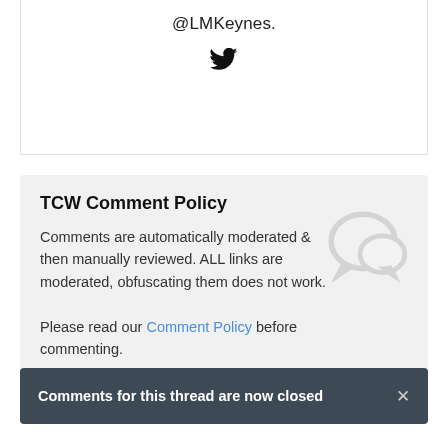@LMKeynes.
[Figure (illustration): Twitter bird icon]
TCW Comment Policy
Comments are automatically moderated & then manually reviewed. ALL links are moderated, obfuscating them does not work.
Please read our Comment Policy before commenting.
Comments for this thread are now closed
Comments  Community  [lock icon]  [1 badge]  Login ▾
♡ Favorite    Sort by Newest ▾